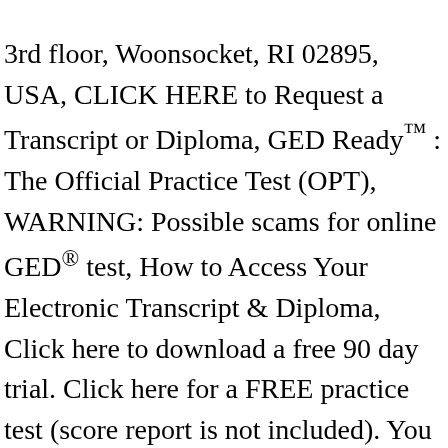3rd floor, Woonsocket, RI 02895, USA, CLICK HERE to Request a Transcript or Diploma, GED Ready™ : The Official Practice Test (OPT), WARNING: Possible scams for online GED® test, How to Access Your Electronic Transcript & Diploma, Click here to download a free 90 day trial. Click here for a FREE practice test (score report is not included). You will receive two discounted retakes for every GED® test subject you purchase but don't pass. The PDF documents are verified by GED Testing Service/Parchment